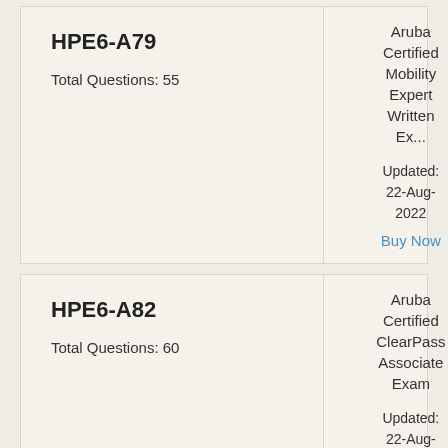| Exam Code / Questions | Details |
| --- | --- |
| HPE6-A79
Total Questions: 55 | Aruba Certified Mobility Expert Written Ex...
Updated: 22-Aug-2022
Buy Now |
| HPE6-A82
Total Questions: 60 | Aruba Certified ClearPass Associate Exam
Updated: 22-Aug-2022 |